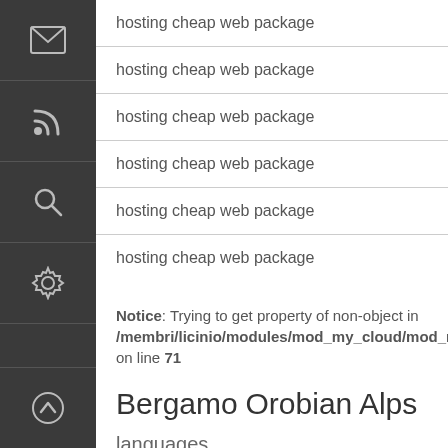[Figure (screenshot): Dark sidebar with icons: mail envelope, RSS feed, search magnifier, settings gear, and scroll-up arrow]
hosting cheap web package
hosting cheap web package
hosting cheap web package
hosting cheap web package
hosting cheap web package
Notice: Trying to get property of non-object in /membri/licinio/modules/mod_my_cloud/mod_my_cloud.php on line 71
Bergamo  Orobian Alps  languages  public sector  traditions  hiking  communication  party  personal satisfaction  free time  architecture  hobbies  mountains  Chamber